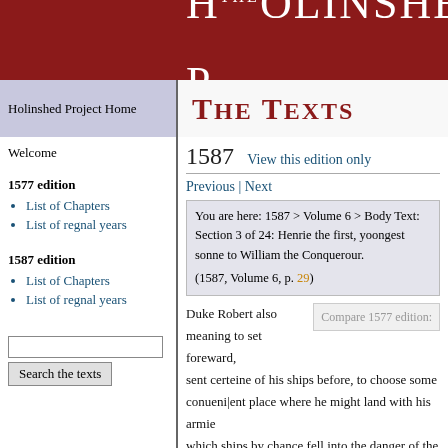THE HOLINSHED P
The Texts
Holinshed Project Home
1587   View this edition only
Previous | Next
You are here: 1587 > Volume 6 > Body Text: Section 3 of 24: Henrie the first, yoongest sonne to William the Conquerour.
(1587, Volume 6, p. 29)
Welcome
1577 edition
List of Chapters
List of regnal years
1587 edition
List of Chapters
List of regnal years
Search the texts
Duke Robert also meaning to set foreward, sent certeine of his ships before, to choose some conueni|ent place where he might land with his armie which ships by chance fell into the danger of the king na|nie, but yet absteining from battell, they recouered the wind, and returned backe to the duke, signifi|eng